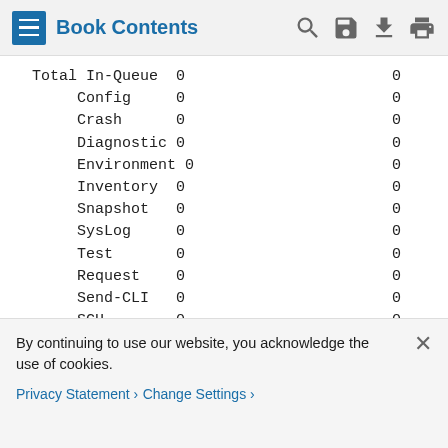Book Contents
| Item | Col1 | Col2 |
| --- | --- | --- |
| Total In-Queue | 0 | 0 |
| Config | 0 | 0 |
| Crash | 0 | 0 |
| Diagnostic | 0 | 0 |
| Environment | 0 | 0 |
| Inventory | 0 | 0 |
| Snapshot | 0 | 0 |
| SysLog | 0 | 0 |
| Test | 0 | 0 |
| Request | 0 | 0 |
| Send-CLI | 0 | 0 |
| SCH | 0 | 0 |
| Total Failed | 0 | 0 |
| Config | 0 | 0 |
| Crash | 0 | 0 |
| Diagnostic | 0 | 0 |
By continuing to use our website, you acknowledge the use of cookies.
Privacy Statement > Change Settings >